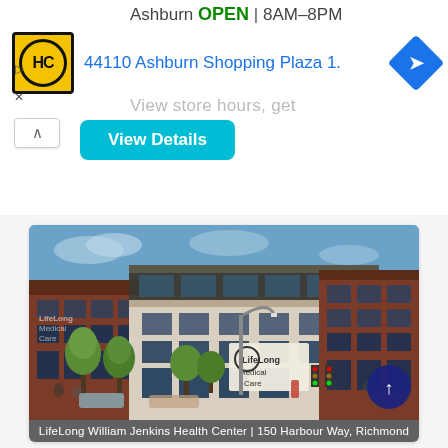[Figure (screenshot): Advertisement banner showing HC logo, 'Ashburn OPEN | 8AM-8PM', address '44110 Ashburn Shopping Plaza 1.', navigation icon, 'View store hours, get...' text, collapse button, and 'View Details' teal button]
[Figure (photo): Architectural rendering of LifeLong Medical Care building (LifeLong William Jenkins Health Center) at 150 Harbour Way, Richmond. Modern multi-story brick and glass building with trees along the street.]
LifeLong William Jenkins Health Center | 150 Harbour Way, Richmond